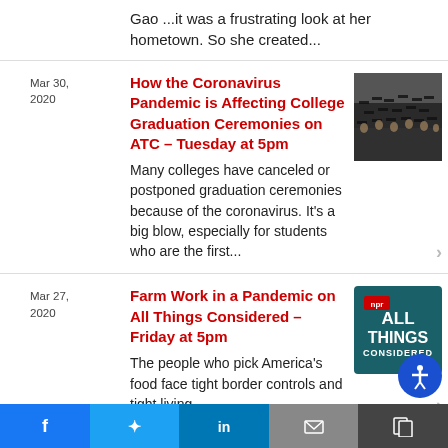Gao ...it was a frustrating look at her hometown. So she created...
Mar 30, 2020
How the Coronavirus Pandemic is Affecting College Graduation Ceremonies on ATC – Tuesday at 5pm
Many colleges have canceled or postponed graduation ceremonies because of the coronavirus. It's a big blow, especially for students who are the first...
[Figure (photo): Crowd of graduation ceremony attendees in caps and gowns]
Mar 27, 2020
Farm Work in a Pandemic on All Things Considered – Friday at 5pm
The people who pick America's food face tight border controls and tight living conditions that put them at ri...
[Figure (logo): NPR All Things Considered logo — dark teal background with NPR logo and ALL THINGS CONSIDERED text in white]